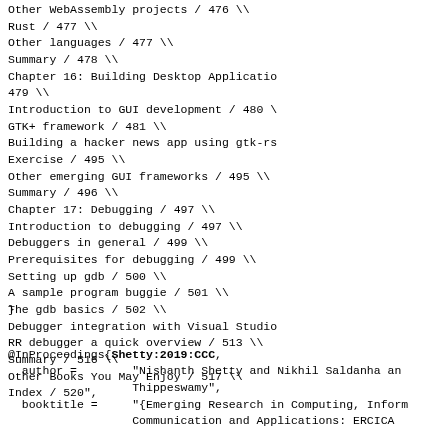Other WebAssembly projects / 476 \\
Rust / 477 \\
Other languages / 477 \\
Summary / 478 \\
Chapter 16: Building Desktop Application 479 \\
Introduction to GUI development / 480 \\
GTK+ framework / 481 \\
Building a hacker news app using gtk-rs
Exercise / 495 \\
Other emerging GUI frameworks / 495 \\
Summary / 496 \\
Chapter 17: Debugging / 497 \\
Introduction to debugging / 497 \\
Debuggers in general / 499 \\
Prerequisites for debugging / 499 \\
Setting up gdb / 500 \\
A sample program buggie / 501 \\
The gdb basics / 502 \\
Debugger integration with Visual Studio
RR debugger a quick overview / 513 \\
Summary / 516 \\
Other Books You May Enjoy / 517 \\
Index / 520",
}
@InProceedings{Shetty:2019:CCC,
  author =        "Nishanth Shetty and Nikhil Saldanha and
                  Thippeswamy",
  booktitle =     "{Emerging Research in Computing, Infor
                  Communication and Applications: ERCICA